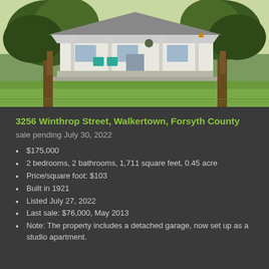[Figure (photo): Exterior photo of a white ranch-style house with a covered front porch, two large trees in the foreground, and a green lawn.]
3256 Winthrop Street, Walkertown, Forsyth County
sale pending July 30, 2022
$175,000
2 bedrooms, 2 bathrooms, 1,711 square feet, 0.45 acre
Price/square foot: $103
Built in 1921
Listed July 27, 2022
Last sale: $76,000, May 2013
Note: The property includes a detached garage, now set up as a studio apartment.